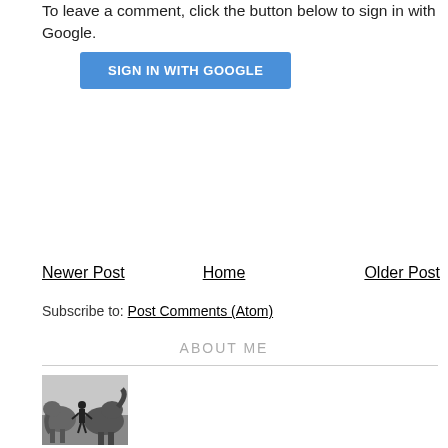To leave a comment, click the button below to sign in with Google.
[Figure (other): Blue 'SIGN IN WITH GOOGLE' button]
Newer Post
Home
Older Post
Subscribe to: Post Comments (Atom)
ABOUT ME
[Figure (photo): Black and white photograph of a person with elephants]